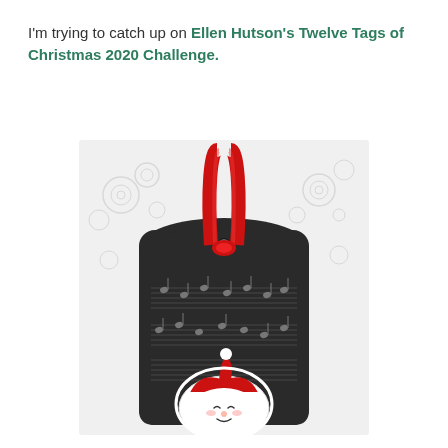I'm trying to catch up on Ellen Hutson's Twelve Tags of Christmas 2020 Challenge.
[Figure (photo): A handmade Christmas gift tag with a red ribbon at the top, dark background with embossed music notes, and a cute kawaii Santa Claus character at the bottom. The tag is placed against a white embossed background.]